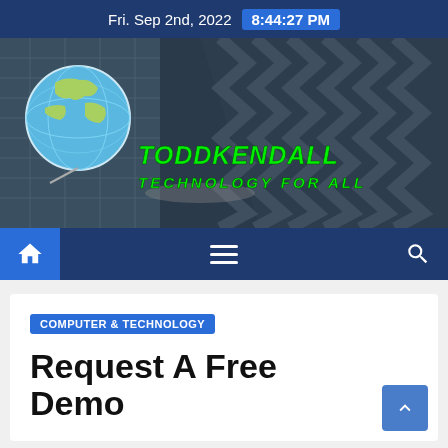Fri. Sep 2nd, 2022  8:44:27 PM
[Figure (logo): ToddKendall Technology For All website banner with globe logo and green stylized text on dark building background]
[Figure (screenshot): Navigation bar with home icon (blue box), hamburger menu, and search icon on dark blue background]
COMPUTER & TECHNOLOGY
Request A Free Demo